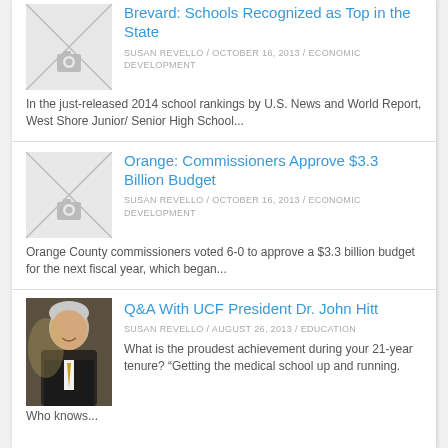Brevard: Schools Recognized as Top in the State
SUSAN REVELLO / OCTOBER 16, 2013 / ECONOMIC DEVELOPMENT
In the just-released 2014 school rankings by U.S. News and World Report, West Shore Junior/ Senior High School...
Orange: Commissioners Approve $3.3 Billion Budget
SUSAN REVELLO / OCTOBER 16, 2013 / ECONOMIC DEVELOPMENT
Orange County commissioners voted 6-0 to approve a $3.3 billion budget for the next fiscal year, which began...
[Figure (photo): Portrait photo of UCF President Dr. John Hitt, smiling man in suit with yellow tie]
Q&A With UCF President Dr. John Hitt
SUSAN REVELLO / AUGUST 26, 2013 / EDUCATION
What is the proudest achievement during your 21-year tenure? "Getting the medical school up and running. Who knows...